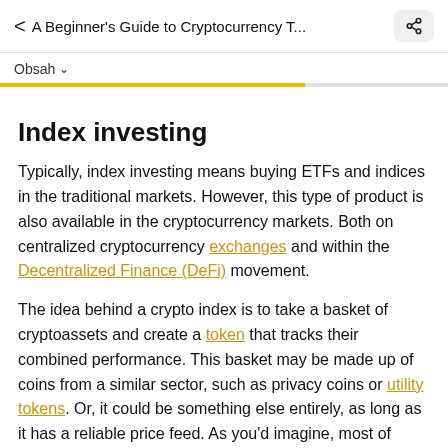< A Beginner's Guide to Cryptocurrency T...
Obsah ▾
Index investing
Typically, index investing means buying ETFs and indices in the traditional markets. However, this type of product is also available in the cryptocurrency markets. Both on centralized cryptocurrency exchanges and within the Decentralized Finance (DeFi) movement.
The idea behind a crypto index is to take a basket of cryptoassets and create a token that tracks their combined performance. This basket may be made up of coins from a similar sector, such as privacy coins or utility tokens. Or, it could be something else entirely, as long as it has a reliable price feed. As you'd imagine, most of